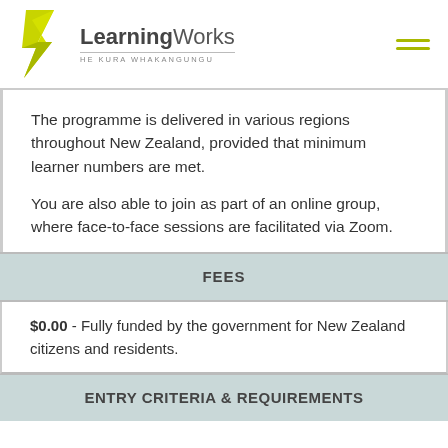LearningWorks HE KURA WHAKANGUNGU
The programme is delivered in various regions throughout New Zealand, provided that minimum learner numbers are met.
You are also able to join as part of an online group, where face-to-face sessions are facilitated via Zoom.
FEES
$0.00 - Fully funded by the government for New Zealand citizens and residents.
ENTRY CRITERIA & REQUIREMENTS